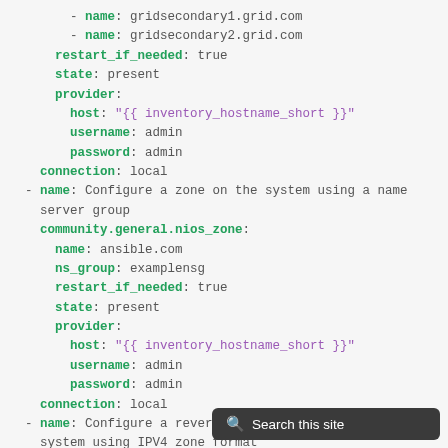YAML/Ansible code snippet showing nios_zone configuration including gridsecondary entries, restart_if_needed, state, provider, connection settings, and zone configurations for ansible.com and 10.10.10.0/24 with IPV4 zone format.